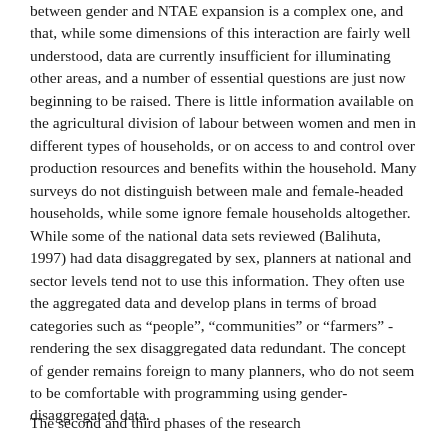between gender and NTAE expansion is a complex one, and that, while some dimensions of this interaction are fairly well understood, data are currently insufficient for illuminating other areas, and a number of essential questions are just now beginning to be raised. There is little information available on the agricultural division of labour between women and men in different types of households, or on access to and control over production resources and benefits within the household. Many surveys do not distinguish between male and female-headed households, while some ignore female households altogether. While some of the national data sets reviewed (Balihuta, 1997) had data disaggregated by sex, planners at national and sector levels tend not to use this information. They often use the aggregated data and develop plans in terms of broad categories such as “people”, “communities” or “farmers” - rendering the sex disaggregated data redundant. The concept of gender remains foreign to many planners, who do not seem to be comfortable with programming using gender-disaggregated data.
The second and third phases of the research